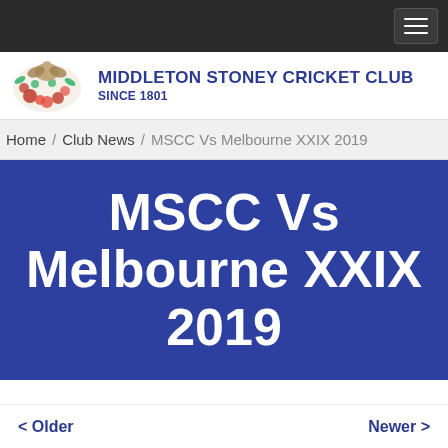[Figure (logo): Middleton Stoney Cricket Club logo with decorative floral/bird emblem and club name 'Middleton Stoney Cricket Club Since 1801']
Home / Club News / MSCC Vs Melbourne XXIX 2019
MSCC Vs Melbourne XXIX 2019
< Older
Newer >